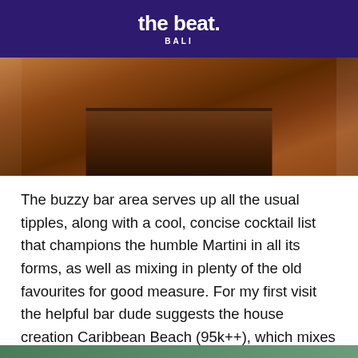the beat. BALI
[Figure (photo): Close-up photo of a dark wooden surface with a wooden block/menu on top, warm brown tones]
The buzzy bar area serves up all the usual tipples, along with a cool, concise cocktail list that champions the humble Martini in all its forms, as well as mixing in plenty of the old favourites for good measure. For my first visit the helpful bar dude suggests the house creation Caribbean Beach (95k++), which mixes up spiced rum with mint, ginger lime and honey for a throat-soothing blend of awesome proportions.